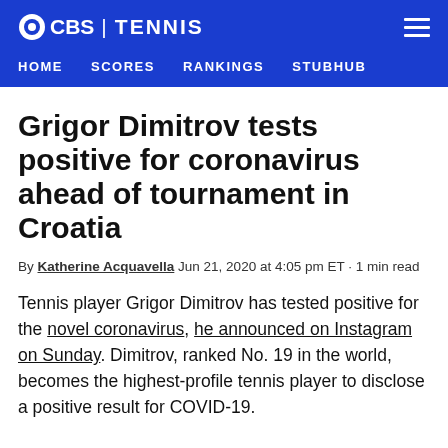CBS | TENNIS
HOME  SCORES  RANKINGS  STUBHUB
Grigor Dimitrov tests positive for coronavirus ahead of tournament in Croatia
By Katherine Acquavella Jun 21, 2020 at 4:05 pm ET • 1 min read
Tennis player Grigor Dimitrov has tested positive for the novel coronavirus, he announced on Instagram on Sunday. Dimitrov, ranked No. 19 in the world, becomes the highest-profile tennis player to disclose a positive result for COVID-19.